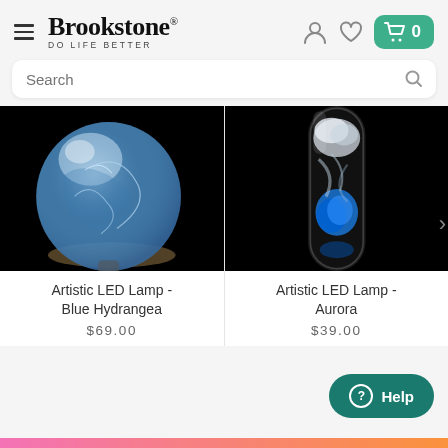Brookstone DO LIFE BETTER
Search
[Figure (photo): Artistic LED Lamp – Blue Hydrangea: glowing blue crystalline sphere on dark background]
Artistic LED Lamp - Blue Hydrangea
$69.00
[Figure (photo): Artistic LED Lamp – Aurora: vertical capsule with blue aurora borealis effect on dark background]
Artistic LED Lamp - Aurora
$39.00